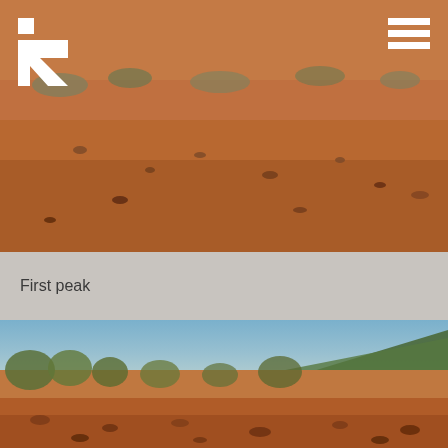[Figure (photo): Arid outback landscape with red rocky soil, sparse low scrub vegetation, viewed from ground level looking down a rough track. White logo and hamburger menu icon overlaid on top-left and top-right corners.]
First peak
[Figure (photo): Wide panoramic photo of dry red rocky outback ground in foreground, sparse scrubby trees and bushes in middle ground, rocky hill covered with vegetation on the right, blue sky above.]